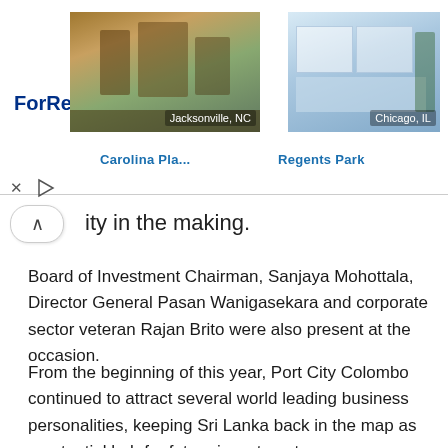[Figure (screenshot): ForRent.com advertisement banner showing apartment photos for Jacksonville, NC (Carolina Pla...) and Chicago, IL (Regents Park) with close and play controls]
ity in the making.
Board of Investment Chairman, Sanjaya Mohottala, Director General Pasan Wanigasekara and corporate sector veteran Rajan Brito were also present at the occasion.
From the beginning of this year, Port City Colombo continued to attract several world leading business personalities, keeping Sri Lanka back in the map as a potential hub for future investment.